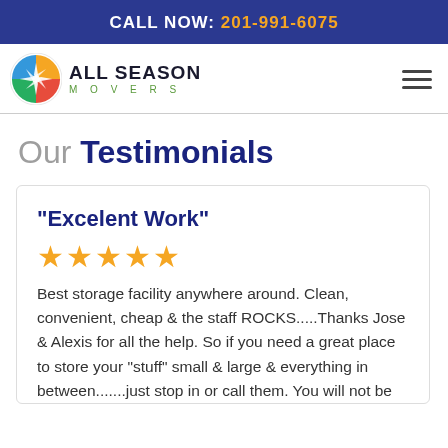CALL NOW: 201-991-6075
[Figure (logo): All Season Movers logo with circular multicolor graphic and company name]
Our Testimonials
“Excelent Work”
★★★★★
Best storage facility anywhere around. Clean, convenient, cheap & the staff ROCKS.....Thanks Jose & Alexis for all the help. So if you need a great place to store your "stuff" small & large & everything in between.......just stop in or call them. You will not be